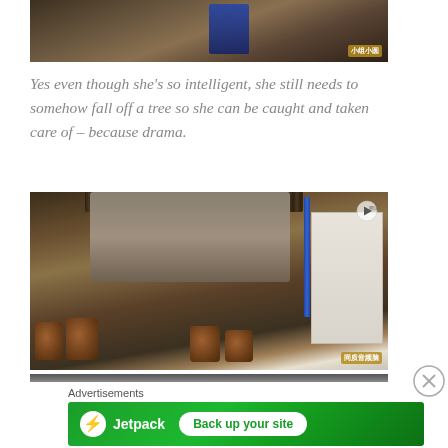[Figure (photo): Still from a Chinese historical drama showing a figure in a blue robe in a forested outdoor setting. Watermark text in Chinese characters in bottom right corner.]
Yes even though she's so intelligent, she still needs to somehow fall off a tree so she can be caught and taken care of – because drama.
[Figure (photo): Still from a Chinese historical drama showing a rustic outdoor scene with wooden barrels, stone walls with thatched roof, a blue pole, and a white building in the background. Play button icon and Chinese watermark visible.]
[Figure (photo): Partially visible image strip at the bottom of the content area.]
Advertisements
[Figure (infographic): Jetpack advertisement banner in green with Jetpack logo and lightning bolt icon on left, and a white rounded button reading 'Back up your site' on the right.]